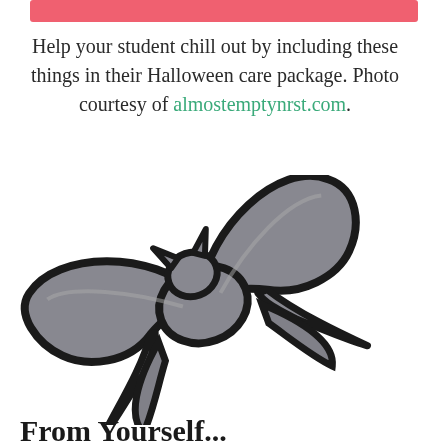[Figure (illustration): A pink/salmon colored rectangular banner at the top of the page]
Help your student chill out by including these things in their Halloween care package. Photo courtesy of almostemptynrst.com.
[Figure (illustration): A cartoon-style gray bat illustration with thick black outline, positioned in the center-left of the page]
From Yourself...